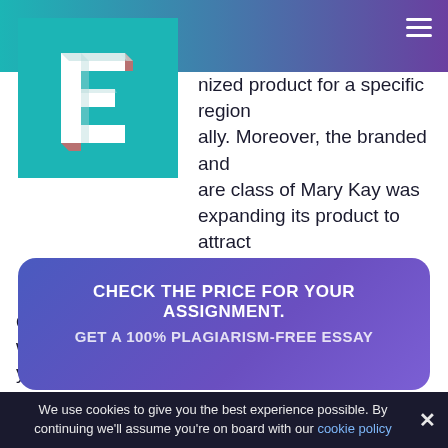[Figure (logo): Stylized 3D letter E logo in white on teal/cyan square background]
nized product for a specific region ally. Moreover, the branded and are class of Mary Kay was expanding its product to attract ts. Mary Kay brand has been developing massive goods in India until 2010 with low cost compared with previous several years. By late 2010, there were more independent splendor consultants much more regions in India, and many of the businesses were given away in northern, western and northeastern area of India.
CHECK THE PRICE FOR YOUR ASSIGNMENT.
GET A 100% PLAGIARISM-FREE ESSAY
We use cookies to give you the best experience possible. By continuing we'll assume you're on board with our cookie policy